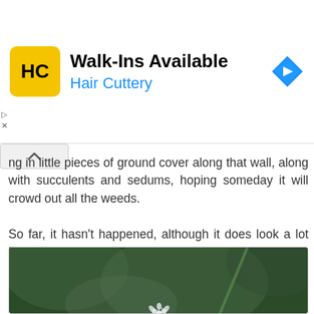[Figure (screenshot): Hair Cuttery advertisement banner with yellow HC logo, text 'Walk-Ins Available' and 'Hair Cuttery', and a blue navigation/map arrow icon on the right]
ng in little pieces of ground cover along that wall, along with succulents and sedums, hoping someday it will crowd out all the weeds.
So far, it hasn't happened, although it does look a lot better than when I bought the house.
[Figure (photo): Close-up macro photo of a small white flower with delicate petals against a blurred dark green leafy background]